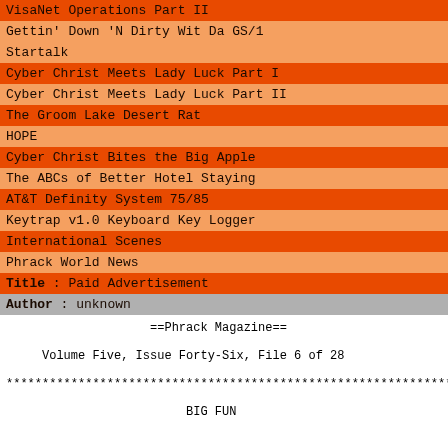VisaNet Operations Part II
Gettin' Down 'N Dirty Wit Da GS/1
Startalk
Cyber Christ Meets Lady Luck Part I
Cyber Christ Meets Lady Luck Part II
The Groom Lake Desert Rat
HOPE
Cyber Christ Bites the Big Apple
The ABCs of Better Hotel Staying
AT&T Definity System 75/85
Keytrap v1.0 Keyboard Key Logger
International Scenes
Phrack World News
Title : Paid Advertisement
Author : unknown
==Phrack Magazine==

Volume Five, Issue Forty-Six, File 6 of 28

******************************************************************

                         BIG FUN


Think Federal District Court Judges and Special
Agents don't have all the fu...